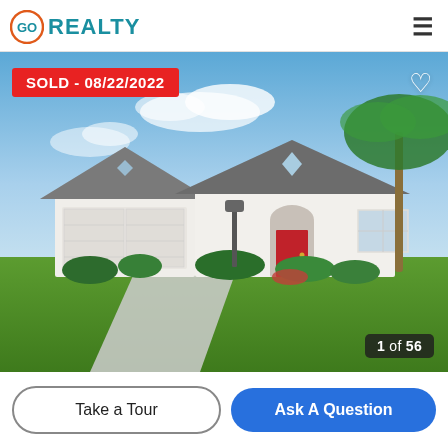GO REALTY
[Figure (photo): Exterior photo of a white single-story Florida home with three-car garage, red front door, lush green lawn, palm tree, and blue sky. Overlay text: SOLD - 08/22/2022 in red badge top-left. Heart icon top-right. Counter '1 of 56' bottom-right.]
Take a Tour
Ask A Question